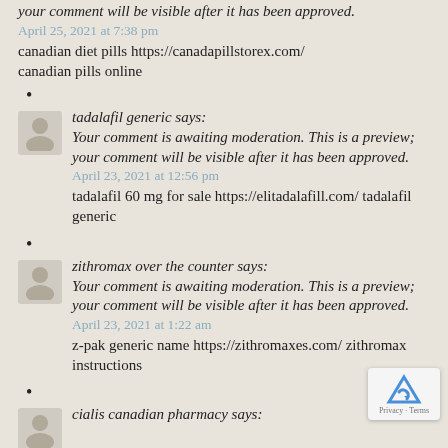your comment will be visible after it has been approved.
April 25, 2021 at 7:38 pm
canadian diet pills https://canadapillstorex.com/ canadian pills online
•
tadalafil generic says:
Your comment is awaiting moderation. This is a preview; your comment will be visible after it has been approved.
April 23, 2021 at 12:56 pm
tadalafil 60 mg for sale https://elitadalafill.com/ tadalafil generic
•
zithromax over the counter says:
Your comment is awaiting moderation. This is a preview; your comment will be visible after it has been approved.
April 23, 2021 at 1:22 am
z-pak generic name https://zithromaxes.com/ zithromax instructions
•
cialis canadian pharmacy says: